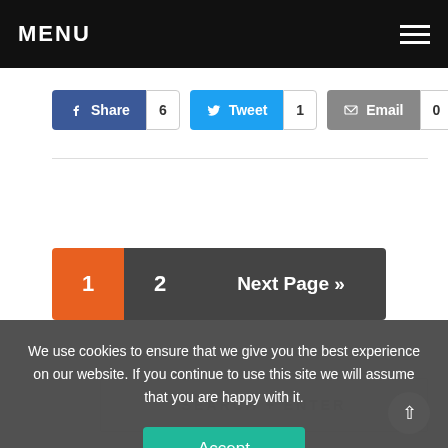MENU
Share 6  Tweet 1  Email 0
1  2  Next Page »
SEARCH + ENTER
We use cookies to ensure that we give you the best experience on our website. If you continue to use this site we will assume that you are happy with it.
Accept